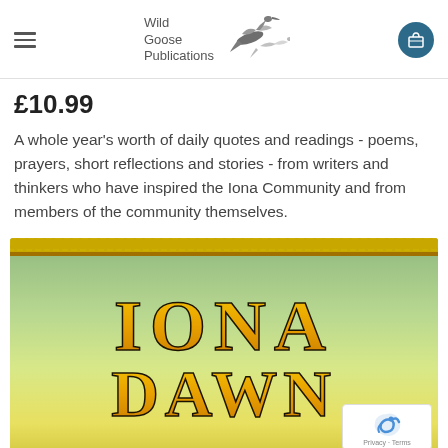Wild Goose Publications
£10.99
A whole year's worth of daily quotes and readings - poems, prayers, short reflections and stories - from writers and thinkers who have inspired the Iona Community and from members of the community themselves.
[Figure (photo): Book cover of 'Iona Dawn' with decorative Celtic-style lettering in gold/yellow tones on a green-blue gradient background with ornamental border at top.]